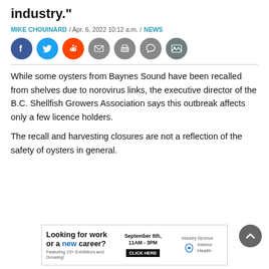industry."
MIKE CHOUINARD / Apr. 6, 2022 10:12 a.m. / NEWS
[Figure (infographic): Row of social media share icons: Facebook (blue), Twitter (blue), Reddit (orange), Email (grey), Print (grey), Comment (grey), Gallery (dark grey)]
While some oysters from Baynes Sound have been recalled from shelves due to norovirus links, the executive director of the B.C. Shellfish Growers Association says this outbreak affects only a few licence holders.
The recall and harvesting closures are not a reflection of the safety of oysters in general.
[Figure (infographic): Advertisement banner: Looking for work or a new career? Featuring 15+ Exhibitors and Growing! September 8th, 11AM-3PM CLICK HERE. Industry Sponsor: Interior Health]